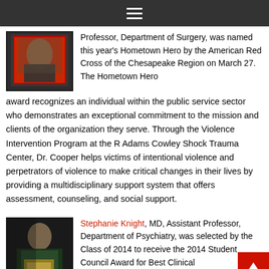[Figure (photo): Photo of a person in academic/formal attire holding a framed item, with another person beside them]
Professor, Department of Surgery, was named this year's Hometown Hero by the American Red Cross of the Chesapeake Region on March 27. The Hometown Hero award recognizes an individual within the public service sector who demonstrates an exceptional commitment to the mission and clients of the organization they serve. Through the Violence Intervention Program at the R Adams Cowley Shock Trauma Center, Dr. Cooper helps victims of intentional violence and perpetrators of violence to make critical changes in their lives by providing a multidisciplinary support system that offers assessment, counseling, and social support.
[Figure (photo): Photo of two people in academic regalia, one holding a certificate or award]
Stephanie Knight, MD, Assistant Professor, Department of Psychiatry, was selected by the Class of 2014 to receive the 2014 Student Council Award for Best Clinical